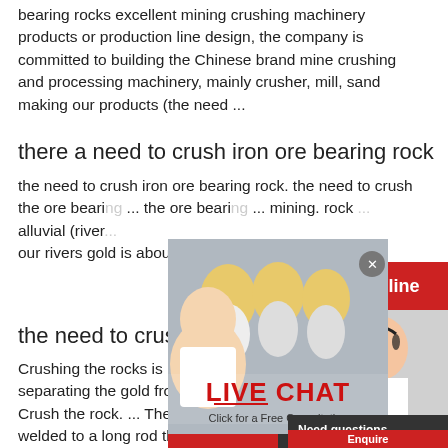bearing rocks excellent mining crushing machinery products or production line design, the company is committed to building the Chinese brand mine crushing and processing machinery, mainly crusher, mill, sand making our products (the need ...
there a need to crush iron ore bearing rock
the need to crush iron ore bearing rock. the need to crush the ore bearing ... the ore bearing ... mining. rock ... alluvial (river... our rivers gold is about six times heavier
[Figure (screenshot): Live chat popup overlay with image of workers in hard hats and a customer service agent with headset. Contains 'LIVE CHAT' heading in red, 'Click for a Free Consultation' text, 'Chat now' red button and 'Chat later' dark button. Also shows 'Hrs Online' red banner, 'Need questions & suggestion?' dark box with 'Chat Now' red oval button and 'Enquire' partial button.]
the need to crush the rocks beari
Crushing the rocks is not as simple as it s... separating the gold from the other ... Thin... Crush the rock. ... These are heavy cylind... welded to a long rod then placed inside a... is ... Mix finely powdered gold-bearing ro...